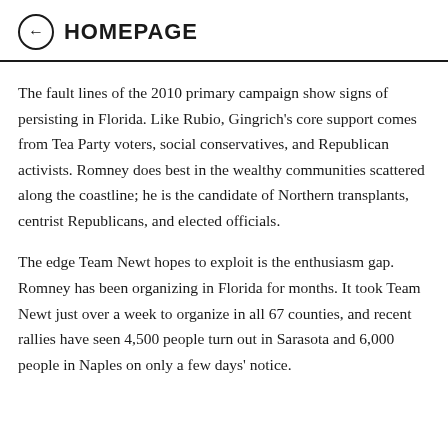← HOMEPAGE
The fault lines of the 2010 primary campaign show signs of persisting in Florida. Like Rubio, Gingrich's core support comes from Tea Party voters, social conservatives, and Republican activists. Romney does best in the wealthy communities scattered along the coastline; he is the candidate of Northern transplants, centrist Republicans, and elected officials.
The edge Team Newt hopes to exploit is the enthusiasm gap. Romney has been organizing in Florida for months. It took Team Newt just over a week to organize in all 67 counties, and recent rallies have seen 4,500 people turn out in Sarasota and 6,000 people in Naples on only a few days' notice.